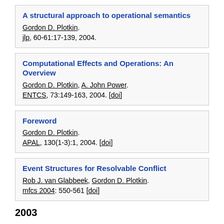A structural approach to operational semantics
Gordon D. Plotkin.
jlp, 60-61:17-139, 2004.
Computational Effects and Operations: An Overview
Gordon D. Plotkin, A. John Power.
ENTCS, 73:149-163, 2004. [doi]
Foreword
Gordon D. Plotkin.
APAL, 130(1-3):1, 2004. [doi]
Event Structures for Resolvable Conflict
Rob J. van Glabbeek, Gordon D. Plotkin.
mfcs 2004: 550-561 [doi]
2003